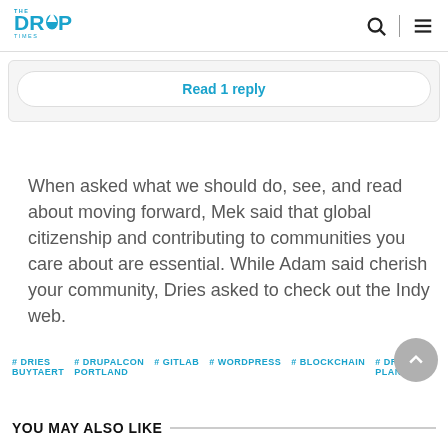The Drop Times
Read 1 reply
When asked what we should do, see, and read about moving forward, Mek said that global citizenship and contributing to communities you care about are essential. While Adam said cherish your community, Dries asked to check out the Indy web.
# DRIES BUYTAERT  # DRUPALCON PORTLAND  # GITLAB  # WORDPRESS  # BLOCKCHAIN  # DRUPLANET
YOU MAY ALSO LIKE